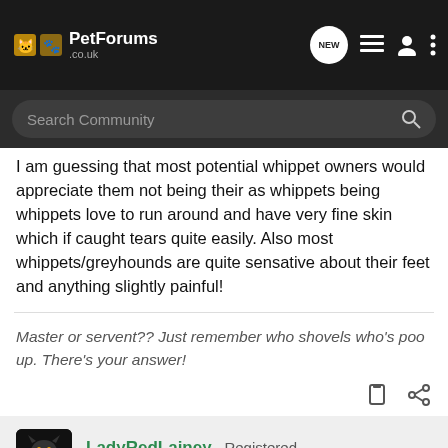PetForums.co.uk
I am guessing that most potential whippet owners would appreciate them not being their as whippets being whippets love to run around and have very fine skin which if caught tears quite easily. Also most whippets/greyhounds are quite sensative about their feet and anything slightly painful!
Master or servent?? Just remember who shovels who's poo up. There's your answer!
LadyRedLainey · Registered
Joined Apr 7, 2009 · 2,362 Posts
Discussion Starter · #16 · Jun 16, 2009